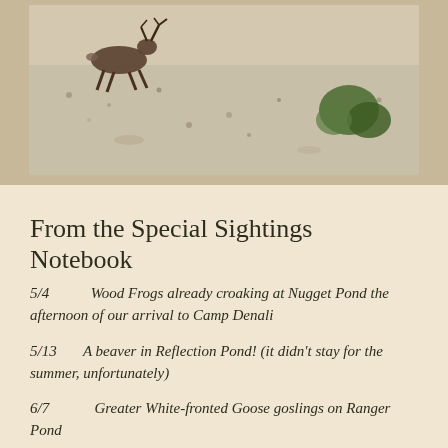[Figure (photo): A caribou or deer running across a snow-dusted ground with a small green shrub in the background. The animal is mid-stride on a light snowy/sandy landscape.]
From the Special Sightings Notebook
5/4     Wood Frogs already croaking at Nugget Pond the afternoon of our arrival to Camp Denali
5/13   A beaver in Reflection Pond! (it didn't stay for the summer, unfortunately)
6/7     Greater White-fronted Goose goslings on Ranger Pond
6/11   75 bird species recorded by Stan Senner during birding week